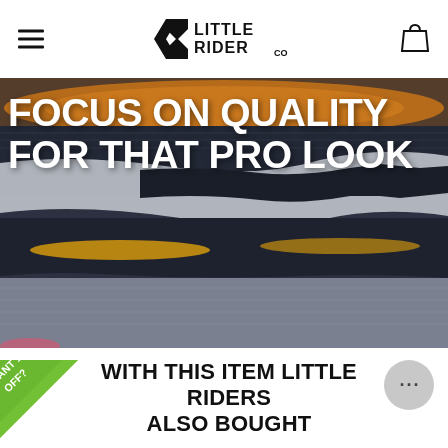Little Rider Co — navigation header with hamburger menu and bag icon
[Figure (photo): Close-up photo of stacked cycling/sports jerseys in black, orange, yellow, white, and grey colors, with bold white text overlay reading FOCUS ON QUALITY FOR THAT PRO LOOK]
FOCUS ON QUALITY FOR THAT PRO LOOK
WITH THIS ITEM LITTLE RIDERS ALSO BOUGHT
[Figure (other): Green diagonal promo badge in bottom-left corner reading WANT 10% OFF?]